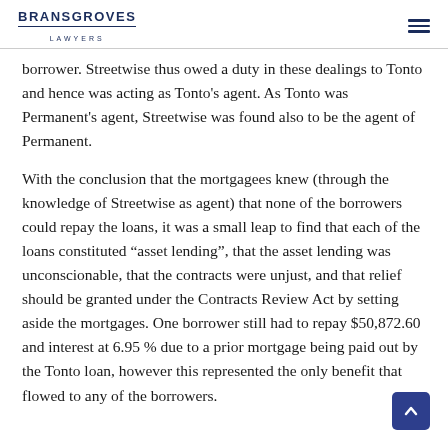BRANSGROVES LAWYERS
borrower. Streetwise thus owed a duty in these dealings to Tonto and hence was acting as Tonto's agent. As Tonto was Permanent's agent, Streetwise was found also to be the agent of Permanent.
With the conclusion that the mortgagees knew (through the knowledge of Streetwise as agent) that none of the borrowers could repay the loans, it was a small leap to find that each of the loans constituted “asset lending”, that the asset lending was unconscionable, that the contracts were unjust, and that relief should be granted under the Contracts Review Act by setting aside the mortgages. One borrower still had to repay $50,872.60 and interest at 6.95 % due to a prior mortgage being paid out by the Tonto loan, however this represented the only benefit that flowed to any of the borrowers.